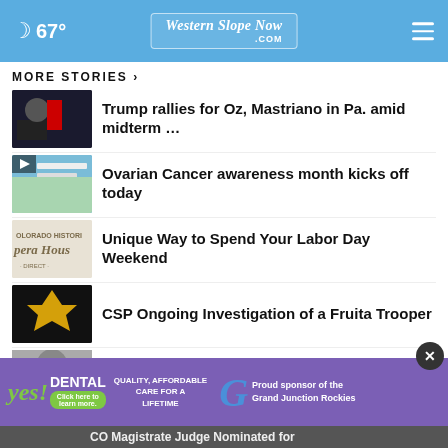67° Western Slope Now .com
MORE STORIES ›
Trump rallies for Oz, Mastriano in Pa. amid midterm …
Ovarian Cancer awareness month kicks off today
Unique Way to Spend Your Labor Day Weekend
CSP Ongoing Investigation of a Fruita Trooper
Prosecutor: Trump ally arrange...
[Figure (screenshot): Advertisement banner for Yes Dental and Grand Junction Rockies]
CO Magistrate Judge Nominated for…